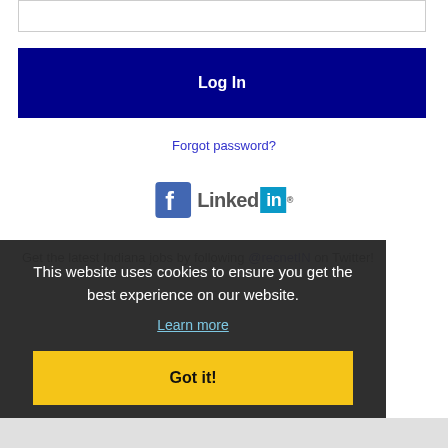[Figure (screenshot): Login form input box (password field, empty)]
Log In
Forgot password?
[Figure (logo): Facebook logo and LinkedIn logo side by side]
Get the latest Indiana jobs by following @recnetIN on Twitter!
This website uses cookies to ensure you get the best experience on our website.
Learn more
Got it!